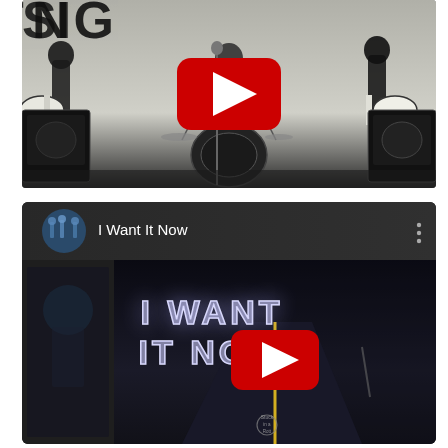[Figure (screenshot): YouTube video thumbnail showing a rock band (guitarist, drummer, bassist) performing in a white studio setting with black and white aesthetic. A large red YouTube play button is centered on the image. Text visible at top partially reads letters in graffiti/band style.]
[Figure (screenshot): YouTube video card UI with dark header showing a circular channel icon with band photo, the title 'I Want It Now', and a three-dot menu icon. The main video thumbnail shows 'I WANT IT NOW' in neon-lit text on a dark road scene with a center yellow line. A red YouTube play button is centered on the video. A small logo/watermark is visible at bottom center.]